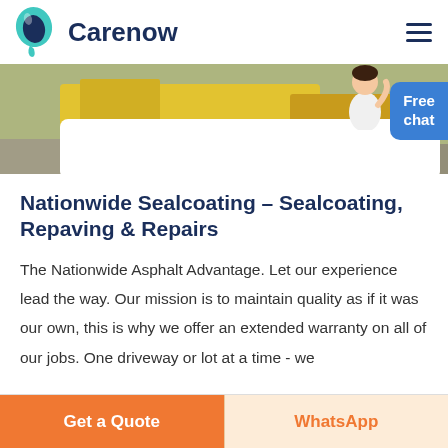Carenow
[Figure (photo): Hero banner image showing a yellow/colorful background, partially visible storefront or play area.]
Nationwide Sealcoating – Sealcoating, Repaving & Repairs
The Nationwide Asphalt Advantage. Let our experience lead the way. Our mission is to maintain quality as if it was our own, this is why we offer an extended warranty on all of our jobs. One driveway or lot at a time - we
Get a Quote | WhatsApp